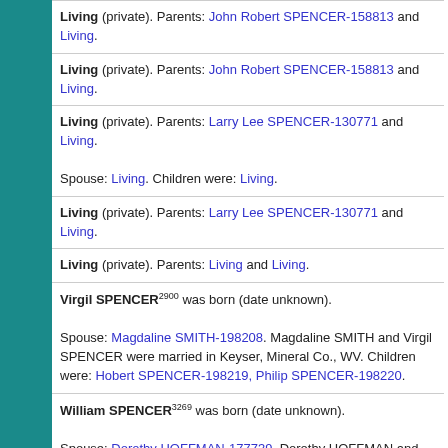Living (private). Parents: John Robert SPENCER-158813 and Living.
Living (private). Parents: John Robert SPENCER-158813 and Living.
Living (private). Parents: Larry Lee SPENCER-130771 and Living.
Spouse: Living. Children were: Living.
Living (private). Parents: Larry Lee SPENCER-130771 and Living.
Living (private). Parents: Living and Living.
Virgil SPENCER2900 was born (date unknown).
Spouse: Magdaline SMITH-198208. Magdaline SMITH and Virgil SPENCER were married in Keyser, Mineral Co., WV. Children were: Hobert SPENCER-198219, Philip SPENCER-198220.
William SPENCER3269 was born (date unknown).
Spouse: Dorothy HOFFMAN-177739. Dorothy HOFFMAN and William SPENCER were married.